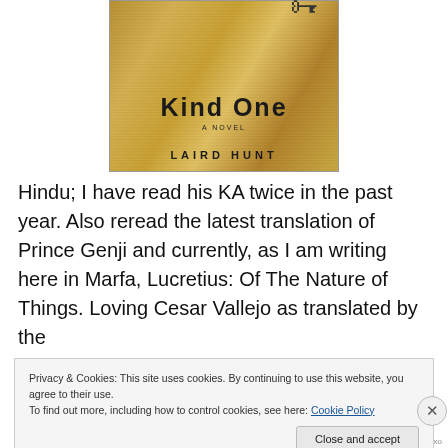[Figure (illustration): Book cover of 'Kind One' by Laird Hunt — aged parchment-style background in yellows and browns, large bold title text at top, a key illustration, subtitle 'A NOVEL', and author name 'LAIRD HUNT' at bottom.]
Hindu; I have read his KA twice in the past year. Also reread the latest translation of Prince Genji and currently, as I am writing here in Marfa, Lucretius: Of The Nature of Things. Loving Cesar Vallejo as translated by the
Privacy & Cookies: This site uses cookies. By continuing to use this website, you agree to their use.
To find out more, including how to control cookies, see here: Cookie Policy
Close and accept
nippricTas.xo